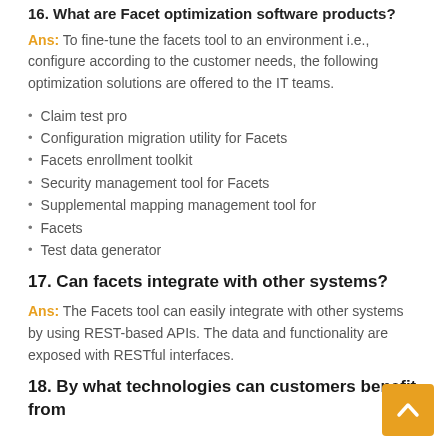16. What are Facet optimization software products?
Ans: To fine-tune the facets tool to an environment i.e., configure according to the customer needs, the following optimization solutions are offered to the IT teams.
Claim test pro
Configuration migration utility for Facets
Facets enrollment toolkit
Security management tool for Facets
Supplemental mapping management tool for
Facets
Test data generator
17. Can facets integrate with other systems?
Ans: The Facets tool can easily integrate with other systems by using REST-based APIs. The data and functionality are exposed with RESTful interfaces.
18. By what technologies can customers benefit from